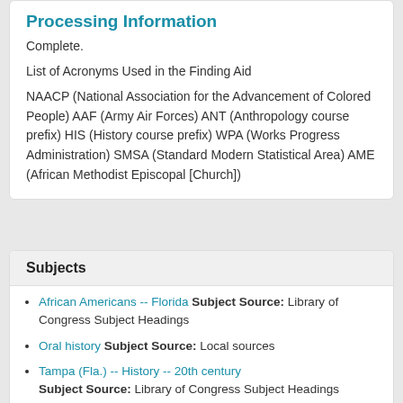Processing Information
Complete.
List of Acronyms Used in the Finding Aid
NAACP (National Association for the Advancement of Colored People) AAF (Army Air Forces) ANT (Anthropology course prefix) HIS (History course prefix) WPA (Works Progress Administration) SMSA (Standard Modern Statistical Area) AME (African Methodist Episcopal [Church])
Subjects
African Americans -- Florida Subject Source: Library of Congress Subject Headings
Oral history Subject Source: Local sources
Tampa (Fla.) -- History -- 20th century Subject Source: Library of Congress Subject Headings